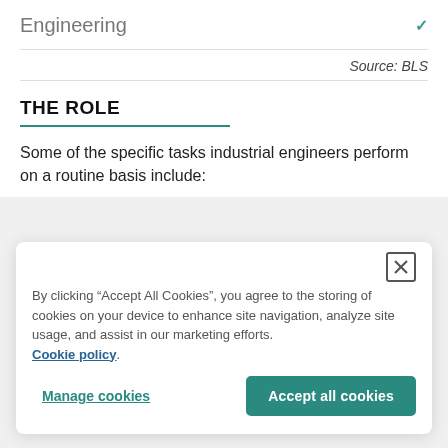Engineering
Source: BLS
THE ROLE
Some of the specific tasks industrial engineers perform on a routine basis include:
By clicking “Accept All Cookies”, you agree to the storing of cookies on your device to enhance site navigation, analyze site usage, and assist in our marketing efforts. Cookie policy.
Manage cookies
Accept all cookies